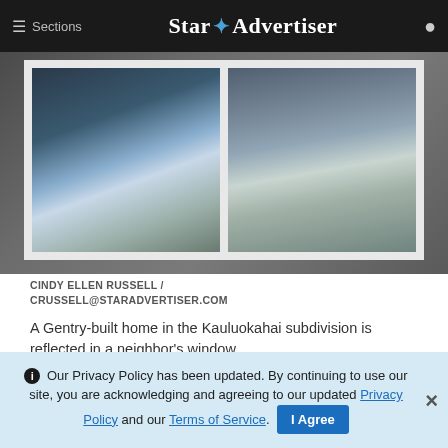≡ Sections  Star Advertiser
[Figure (photo): A close-up photo of windows on a building exterior, showing the reflection of a neighboring Gentry-built home in the Kauluokahai subdivision. White window frames on a grey/brown stucco wall.]
CINDY ELLEN RUSSELL / CRUSSELL@STARADVERTISER.COM
A Gentry-built home in the Kauluokahai subdivision is reflected in a neighbor's window.
ℹ Our Privacy Policy has been updated. By continuing to use our site, you are acknowledging and agreeing to our updated Privacy Policy and our Terms of Service. I Agree